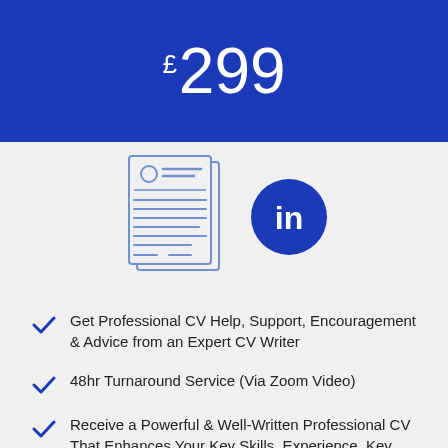£299
[Figure (illustration): CV document icon and LinkedIn logo icon side by side]
Get Professional CV Help, Support, Encouragement & Advice from an Expert CV Writer
48hr Turnaround Service (Via Zoom Video)
Receive a Powerful & Well-Written Professional CV That Enhances Your Key Skills, Experience, Key Achievements &...